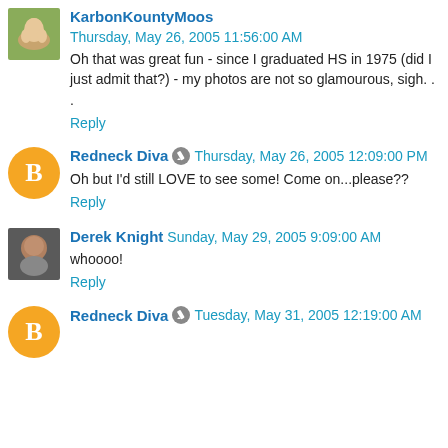KarbonKountyMoos Thursday, May 26, 2005 11:56:00 AM
Oh that was great fun - since I graduated HS in 1975 (did I just admit that?) - my photos are not so glamourous, sigh. . .
Reply
Redneck Diva Thursday, May 26, 2005 12:09:00 PM
Oh but I'd still LOVE to see some! Come on...please??
Reply
Derek Knight Sunday, May 29, 2005 9:09:00 AM
whoooo!
Reply
Redneck Diva Tuesday, May 31, 2005 12:19:00 AM